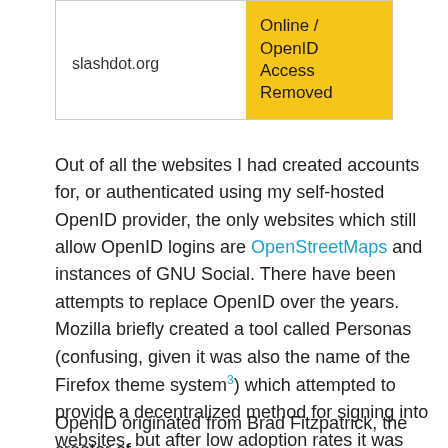|  |  |
| --- | --- |
| slashdot.org | Online / OpenID Access Removed |
Out of all the websites I had created accounts for, or authenticated using my self-hosted OpenID provider, the only websites which still allow OpenID logins are OpenStreetMaps and instances of GNU Social. There have been attempts to replace OpenID over the years. Mozilla briefly created a tool called Personas (confusing, given it was also the name of the Firefox theme system3) which attempted to provide a decentralized method for signing into websites, but after low adoption rates it was eventually scuttled in November of 20164.
OpenID originated from Brad Fitzpatrick, the creator of